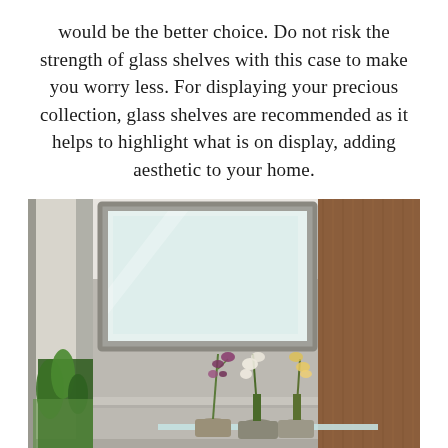would be the better choice. Do not risk the strength of glass shelves with this case to make you worry less. For displaying your precious collection, glass shelves are recommended as it helps to highlight what is on display, adding aesthetic to your home.
[Figure (photo): Interior photo showing a room corner with a large framed frosted glass window near the ceiling, a glass shelf below with potted orchid plants in small pots, wooden wall paneling on the right, and a window with green plants on the left.]